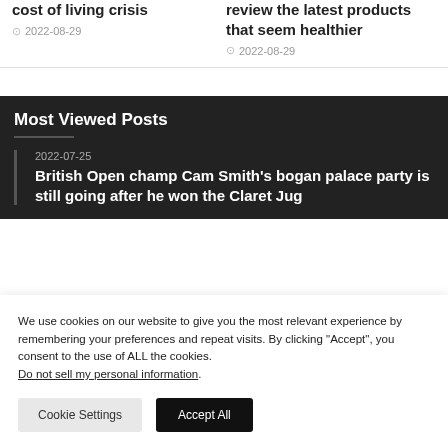cost of living crisis
2022-08-29
review the latest products that seem healthier
2022-08-29
Most Viewed Posts
2022-07-25
British Open champ Cam Smith's bogan palace party is still going after he won the Claret Jug
We use cookies on our website to give you the most relevant experience by remembering your preferences and repeat visits. By clicking “Accept”, you consent to the use of ALL the cookies. Do not sell my personal information.
Cookie Settings
Accept All